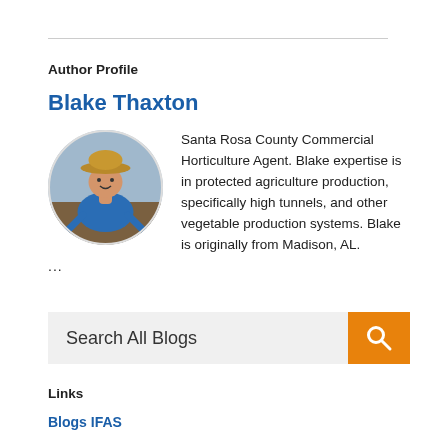Author Profile
Blake Thaxton
[Figure (photo): Circular profile photo of Blake Thaxton, a man wearing a hat and blue shirt, crouching outdoors in a field.]
Santa Rosa County Commercial Horticulture Agent. Blake expertise is in protected agriculture production, specifically high tunnels, and other vegetable production systems. Blake is originally from Madison, AL.
...
Search All Blogs
Links
Blogs IFAS